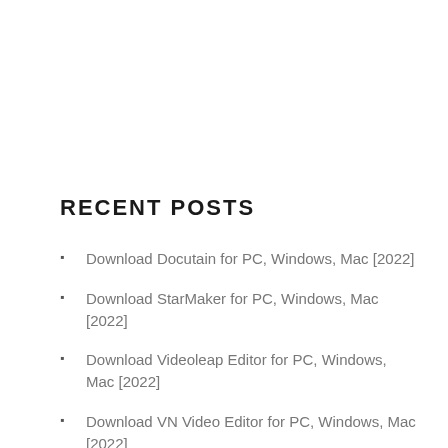RECENT POSTS
Download Docutain for PC, Windows, Mac [2022]
Download StarMaker for PC, Windows, Mac [2022]
Download Videoleap Editor for PC, Windows, Mac [2022]
Download VN Video Editor for PC, Windows, Mac [2022]
Download Desygner for PC, Windows, Mac [2022]